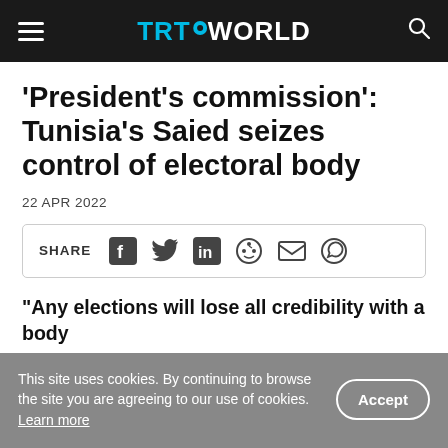TRT WORLD
'President's commission': Tunisia's Saied seizes control of electoral body
22 APR 2022
SHARE [social icons: Facebook, Twitter, LinkedIn, Reddit, Email, WhatsApp]
"Any elections will lose all credibility with a body
This site uses cookies. By continuing to browse the site you are agreeing to our use of cookies. Learn more